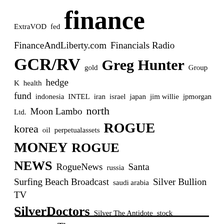[Figure (other): Tag cloud with finance-related terms in various sizes, all in blue color. Terms include: ExtraVOD, fed, finance, FinanceAndLiberty.com, Financials Radio, GCR/RV, gold, Greg Hunter, Group K, health, hedge fund, indonesia, INTEL, iran, israel, japan, jim willie, jpmorgan, Ltd., Moon Lambo, north korea, oil, perpetualassets, ROGUE MONEY, ROGUE NEWS, RogueNews, russia, Santa, Surfing Beach Broadcast, saudi arabia, Silver Bullion TV, SilverDoctors, Silver The Antidote, stock market, syria, The Bearable Bull, THE ELIJAH K. JOHNSON REPORT, THE XRP BULLY, trump, us, us national debt, venezuela, whatdoesitmean, william mount]
—